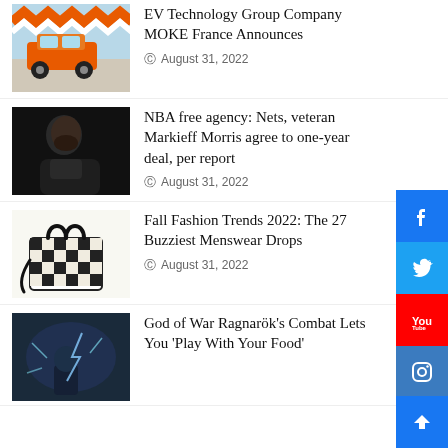[Figure (photo): Orange MOKE electric vehicle in a colorful showroom with orange and white zigzag pattern on the wall]
EV Technology Group Company MOKE France Announces
August 31, 2022
[Figure (photo): NBA player Markieff Morris side profile portrait against dark background]
NBA free agency: Nets, veteran Markieff Morris agree to one-year deal, per report
August 31, 2022
[Figure (photo): Checkered black and white designer tote bag with shoulder strap]
Fall Fashion Trends 2022: The 27 Buzziest Menswear Drops
August 31, 2022
[Figure (photo): God of War Ragnarök game screenshot showing combat scene]
God of War Ragnarök's Combat Lets You 'Play With Your Food'